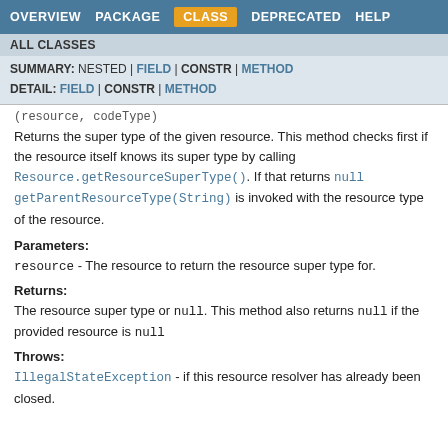OVERVIEW | PACKAGE | CLASS | DEPRECATED | HELP
ALL CLASSES
SUMMARY: NESTED | FIELD | CONSTR | METHOD
DETAIL: FIELD | CONSTR | METHOD
(resource, codeType)
Returns the super type of the given resource. This method checks first if the resource itself knows its super type by calling Resource.getResourceSuperType(). If that returns null getParentResourceType(String) is invoked with the resource type of the resource.
Parameters:
resource - The resource to return the resource super type for.
Returns:
The resource super type or null. This method also returns null if the provided resource is null
Throws:
IllegalStateException - if this resource resolver has already been closed.